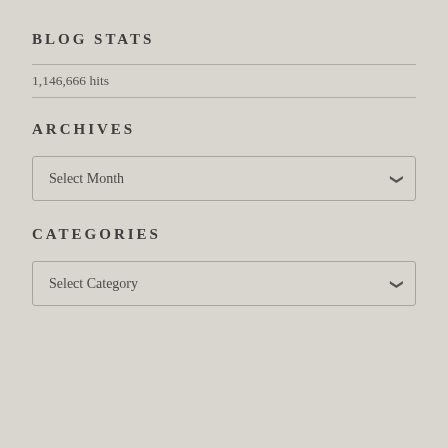BLOG STATS
1,146,666 hits
ARCHIVES
Select Month
CATEGORIES
Select Category